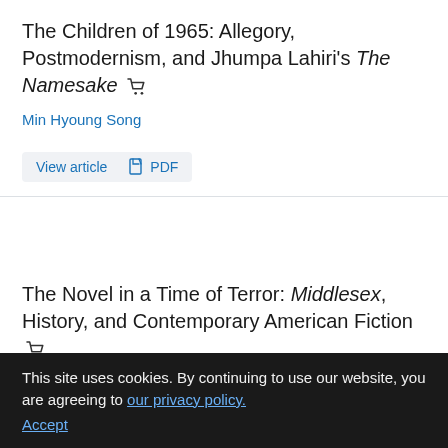The Children of 1965: Allegory, Postmodernism, and Jhumpa Lahiri's The Namesake
Min Hyoung Song
View article  PDF
The Novel in a Time of Terror: Middlesex, History, and Contemporary American Fiction
Samuel Cohen
View article  PDF
This site uses cookies. By continuing to use our website, you are agreeing to our privacy policy. Accept